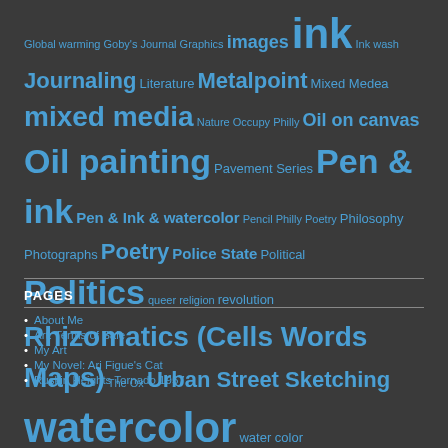Global warming Goby's Journal Graphics images ink Ink wash Journaling Literature Metalpoint Mixed Medea mixed media Nature Occupy Philly Oil on canvas Oil painting Pavement Series Pen & ink Pen & Ink & watercolor Pencil Philly Poetry Philosophy Photographs Poetry Police State Political Politics queer religion revolution Rhizomatics (Cells Words Maps) The Ox Urban Street Sketching watercolor water color watercolor & ink watercolor and ink waterdcolor Willard Art
PAGES
About Me
Art: Terms of Sale
My Art
My Novel: Ari Figue's Cat
Ruskin Heights Tornado 1957